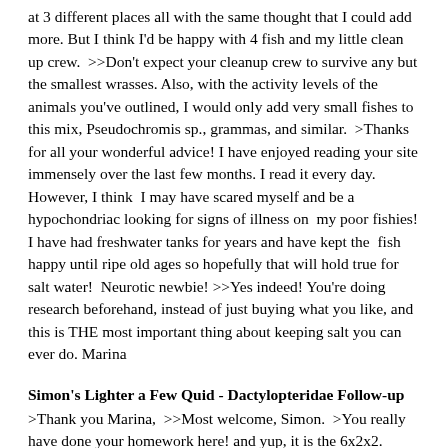at 3 different places all with the same thought that I could add more. But I think I'd be happy with 4 fish and my little clean up crew.  >>Don't expect your cleanup crew to survive any but the smallest wrasses. Also, with the activity levels of the animals you've outlined, I would only add very small fishes to this mix, Pseudochromis sp., grammas, and similar.  >Thanks for all your wonderful advice! I have enjoyed reading your site immensely over the last few months. I read it every day. However, I think  I may have scared myself and be a hypochondriac looking for signs of illness on  my poor fishies! I have had freshwater tanks for years and have kept the  fish happy until ripe old ages so hopefully that will hold true for salt water!  Neurotic newbie! >>Yes indeed! You're doing research beforehand, instead of just buying what you like, and this is THE most important thing about keeping salt you can ever do. Marina
Simon's Lighter a Few Quid - Dactylopteridae Follow-up
>Thank you Marina,  >>Most welcome, Simon.  >You really have done your homework here! and yup, it is the 6x2x2.  >>Ah, mate, there's this machine, the COMPUTER! It's amazing I tell you! Just amazing!  >Dead right about being a few quid (English eh?) slimmer if I were to give up  this fascinating hobby, recon I'd own my own Lear jet by now!!.........but no way I'm afraid.....sooner have the tank.  >>Myself not English, but I have several friends on your little island who've wised me to what "proper" English is. They also delight in calling me "Yank", which grates on this Southern born woman to everyone's